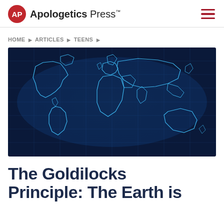Apologetics Press
HOME ▶ ARTICLES ▶ TEENS ▶
[Figure (map): Blue glowing world map on dark blue grid background showing continental outlines]
The Goldilocks Principle: The Earth is